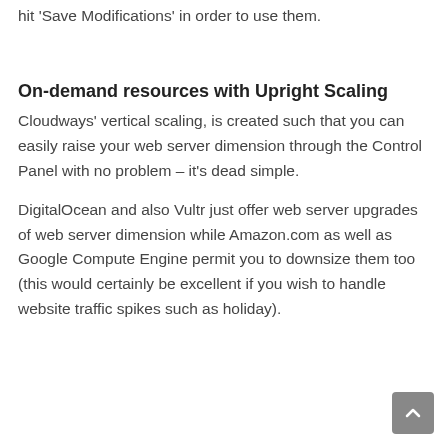hit 'Save Modifications' in order to use them.
On-demand resources with Upright Scaling
Cloudways' vertical scaling, is created such that you can easily raise your web server dimension through the Control Panel with no problem – it's dead simple.
DigitalOcean and also Vultr just offer web server upgrades of web server dimension while Amazon.com as well as Google Compute Engine permit you to downsize them too (this would certainly be excellent if you wish to handle website traffic spikes such as holiday).